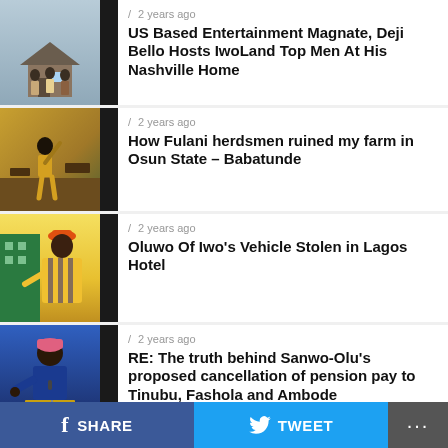2 years ago / US Based Entertainment Magnate, Deji Bello Hosts IwoLand Top Men At His Nashville Home
2 years ago / How Fulani herdsmen ruined my farm in Osun State – Babatunde
2 years ago / Oluwo Of Iwo's Vehicle Stolen in Lagos Hotel
2 years ago / RE: The truth behind Sanwo-Olu's proposed cancellation of pension pay to Tinubu, Fashola and Ambode
2 years ago
f SHARE  TWEET  ...